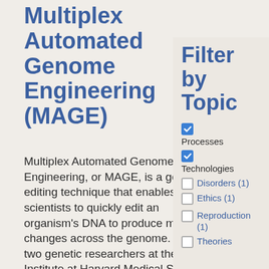Multiplex Automated Genome Engineering (MAGE)
Multiplex Automated Genome Engineering, or MAGE, is a genome editing technique that enables scientists to quickly edit an organism's DNA to produce multiple changes across the genome. In 2009, two genetic researchers at the Wyss Institute at Harvard Medical School in Boston, Massachusetts, Harris Wang and George Church,
Filter by Topic
Processes (checked)
Technologies (checked)
Disorders (1)
Ethics (1)
Reproduction (1)
Theories